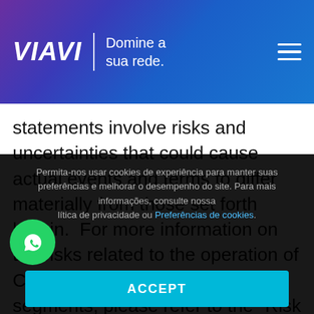VIAVI | Domine a sua rede.
statements involve risks and uncertainties that could cause actual events and terms to differ materially from those set forth herein.  For more information on the risks related to the operation of Company's existing business segments, please refer to the "Risk Factors" section included in the Company's Annual Report on Form 10-K for the fiscal year ended June 28, 2014 and the Company's Quarterly Report on Form 10-Q
Permita-nos usar cookies de experiência para manter suas preferências e melhorar o desempenho do site. Para mais informações, consulte nossa Política de privacidade ou Preferências de cookies.
ACCEPT